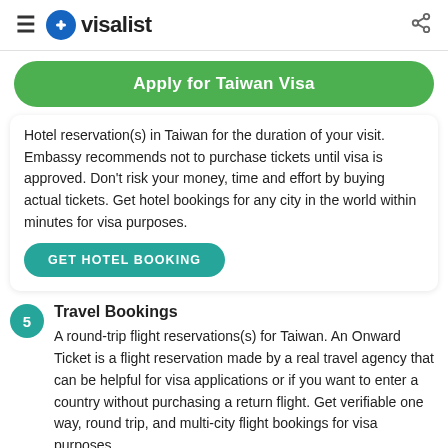≡ visalist (share icon)
Apply for Taiwan Visa
Hotel reservation(s) in Taiwan for the duration of your visit. Embassy recommends not to purchase tickets until visa is approved. Don't risk your money, time and effort by buying actual tickets. Get hotel bookings for any city in the world within minutes for visa purposes.
GET HOTEL BOOKING
5 Travel Bookings
A round-trip flight reservations(s) for Taiwan. An Onward Ticket is a flight reservation made by a real travel agency that can be helpful for visa applications or if you want to enter a country without purchasing a return flight. Get verifiable one way, round trip, and multi-city flight bookings for visa purposes.
GET FLIGHT TICKETS